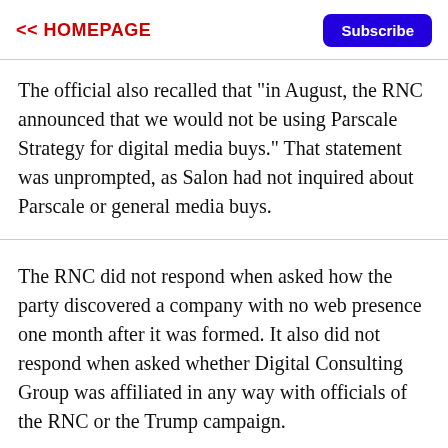<< HOMEPAGE   Subscribe
The official also recalled that "in August, the RNC announced that we would not be using Parscale Strategy for digital media buys." That statement was unprompted, as Salon had not inquired about Parscale or general media buys.
The RNC did not respond when asked how the party discovered a company with no web presence one month after it was formed. It also did not respond when asked whether Digital Consulting Group was affiliated in any way with officials of the RNC or the Trump campaign.